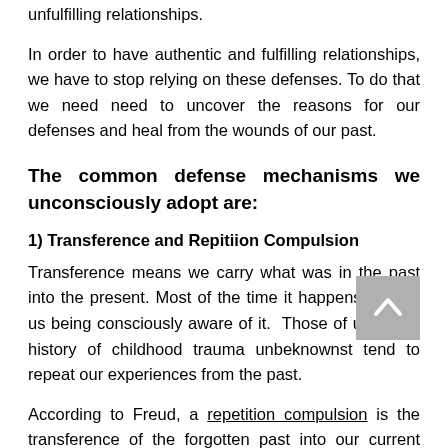unfulfilling relationships.
In order to have authentic and fulfilling relationships, we have to stop relying on these defenses. To do that we need need to uncover the reasons for our defenses and heal from the wounds of our past.
The common defense mechanisms we unconsciously adopt are:
1) Transference and Repitiion Compulsion
Transference means we carry what was in the past into the present. Most of the time it happens without us being consciously aware of it. Those of us with a history of childhood trauma unbeknownst tend to repeat our experiences from the past.
According to Freud, a repetition compulsion is the transference of the forgotten past into our current lives.